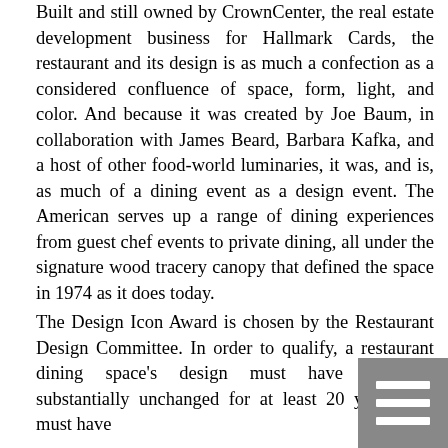Built and still owned by CrownCenter, the real estate development business for Hallmark Cards, the restaurant and its design is as much a confection as a considered confluence of space, form, light, and color. And because it was created by Joe Baum, in collaboration with James Beard, Barbara Kafka, and a host of other food-world luminaries, it was, and is, as much of a dining event as a design event. The American serves up a range of dining experiences from guest chef events to private dining, all under the signature wood tracery canopy that defined the space in 1974 as it does today.
The Design Icon Award is chosen by the Restaurant Design Committee. In order to qualify, a restaurant dining space's design must have remained substantially unchanged for at least 20 years, and must have